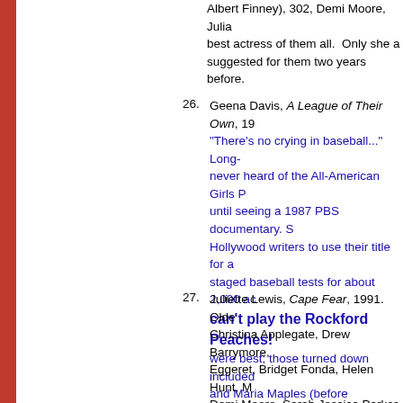Albert Finney), 302, Demi Moore, Julia... best actress of them all. Only she a... suggested for them two years before.
26. Geena Davis, A League of Their Own, 19... "There's no crying in baseball..." Long-... never heard of the All-American Girls P... until seeing a 1987 PBS documentary. S... Hollywood writers to use their title for a... staged baseball tests for about 2,000 ac... can't play the Rockford Peaches!... were best; those turned down included... and Maria Maples (before becoming the... and Laura Dern were set to star in 1990... Hanks and Geena took over at Columbi... Dottie Hinson were Sally Field, Nicole K... Sheedy, Brooke Shields, Debra Winger... the proffered script. "The whole idea of... a ball game... I don't think so."
27. Juliette Lewis, Cape Fear, 1991. Olde... Christina Applegate, Drew Barrymore,... Eggeret, Bridget Fonda, Helen Hunt, M... Demi Moore, Sarah Jessica Parker, M... Brooke Shields, Tiffani Thiessen, Re... Spielberg and, later, Martin Scorsese... Jessica Lange: Danielle Bowden. (Nic... sexy and, indeed, few could have equ... improvised - and one take - seduction s...